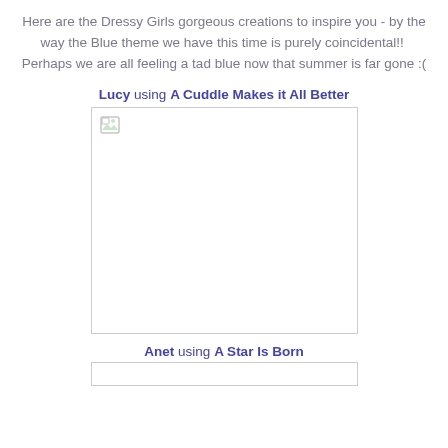Here are the Dressy Girls gorgeous creations to inspire you - by the way the Blue theme we have this time is purely coincidental!!  Perhaps we are all feeling a tad blue now that summer is far gone :(
Lucy using A Cuddle Makes it All Better
[Figure (photo): Broken image placeholder for Lucy's creation using 'A Cuddle Makes it All Better']
Anet using A Star Is Born
[Figure (photo): Partially visible image placeholder for Anet's creation using 'A Star Is Born']